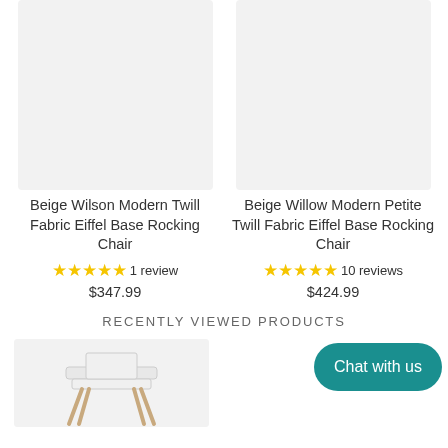[Figure (photo): Product image placeholder for Beige Wilson Modern Twill Fabric Eiffel Base Rocking Chair - light gray background]
Beige Wilson Modern Twill Fabric Eiffel Base Rocking Chair
★★★★★ 1 review $347.99
[Figure (photo): Product image placeholder for Beige Willow Modern Petite Twill Fabric Eiffel Base Rocking Chair - light gray background]
Beige Willow Modern Petite Twill Fabric Eiffel Base Rocking Chair
★★★★★ 10 reviews $424.99
RECENTLY VIEWED PRODUCTS
[Figure (photo): High chair product photo - white high chair with wooden legs on light background]
Chat with us